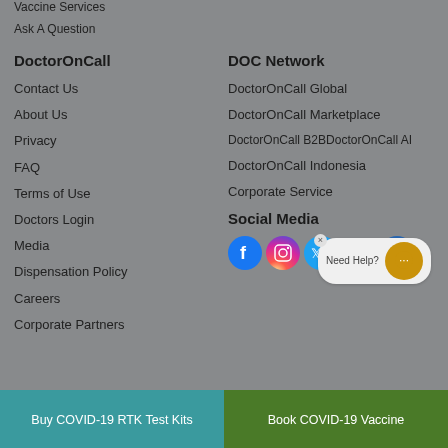Vaccine Services
Ask A Question
DoctorOnCall
Contact Us
About Us
Privacy
FAQ
Terms of Use
Doctors Login
Media
Dispensation Policy
Careers
Corporate Partners
DOC Network
DoctorOnCall Global
DoctorOnCall Marketplace
DoctorOnCall B2BDoctorOnCall AI
DoctorOnCall Indonesia
Corporate Service
Social Media
[Figure (infographic): Social media icons (Facebook, Instagram, Twitter, YouTube, LinkedIn) with a Need Help? chat bubble and orange chat button]
Buy COVID-19 RTK Test Kits
Book COVID-19 Vaccine